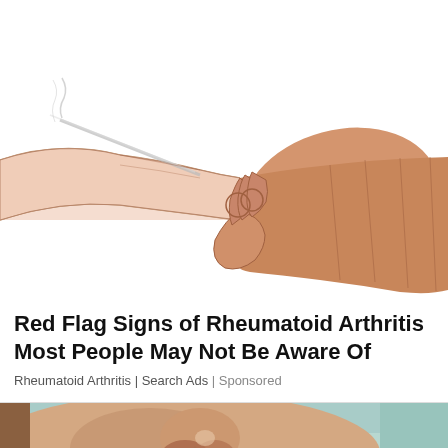[Figure (illustration): Illustrated drawing of two hands — one hand gripping the wrist/fingers of another hand, depicted in a semi-realistic illustration style showing joint manipulation, relevant to arthritis symptoms.]
Red Flag Signs of Rheumatoid Arthritis Most People May Not Be Aware Of
Rheumatoid Arthritis | Search Ads | Sponsored
[Figure (photo): Close-up photo of a person's nose and lower face showing skin texture and beard, cropped at bottom of page.]